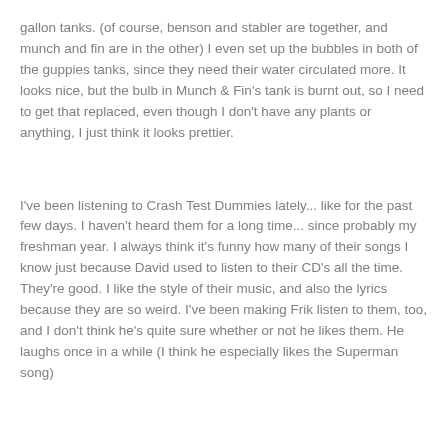gallon tanks. (of course, benson and stabler are together, and munch and fin are in the other) I even set up the bubbles in both of the guppies tanks, since they need their water circulated more. It looks nice, but the bulb in Munch & Fin's tank is burnt out, so I need to get that replaced, even though I don't have any plants or anything, I just think it looks prettier.
I've been listening to Crash Test Dummies lately... like for the past few days. I haven't heard them for a long time... since probably my freshman year. I always think it's funny how many of their songs I know just because David used to listen to their CD's all the time. They're good. I like the style of their music, and also the lyrics because they are so weird. I've been making Frik listen to them, too, and I don't think he's quite sure whether or not he likes them. He laughs once in a while (I think he especially likes the Superman song)